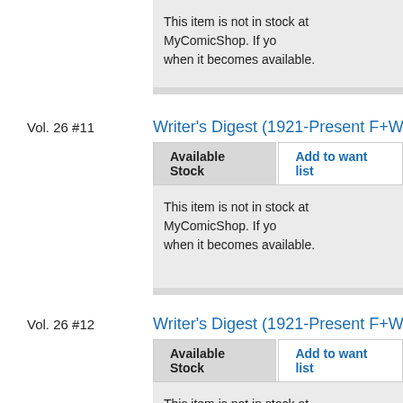This item is not in stock at MyComicShop. If yo... when it becomes available.
Vol. 26 #11
Writer's Digest (1921-Present F+W Pub...
Available Stock | Add to want list
This item is not in stock at MyComicShop. If yo... when it becomes available.
Vol. 26 #12
Writer's Digest (1921-Present F+W Pub...
Available Stock | Add to want list
This item is not in stock at MyComicShop. If yo... when it becomes available.